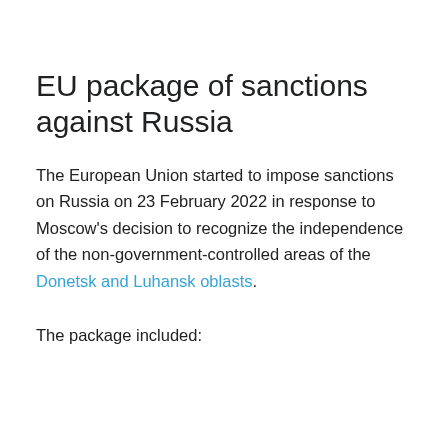EU package of sanctions against Russia
The European Union started to impose sanctions on Russia on 23 February 2022 in response to Moscow's decision to recognize the independence of the non-government-controlled areas of the Donetsk and Luhansk oblasts.
The package included: